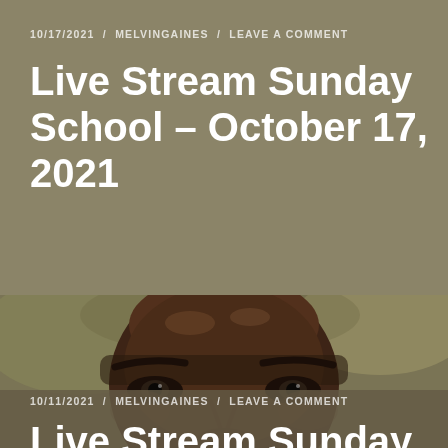10/17/2021 / MELVINGAINES / LEAVE A COMMENT
Live Stream Sunday School – October 17, 2021
[Figure (photo): Close-up portrait photo of a middle-aged Black man, cropped to show forehead, eyes, and nose area against a blurred background]
10/11/2021 / MELVINGAINES / LEAVE A COMMENT
Live Stream Sunday